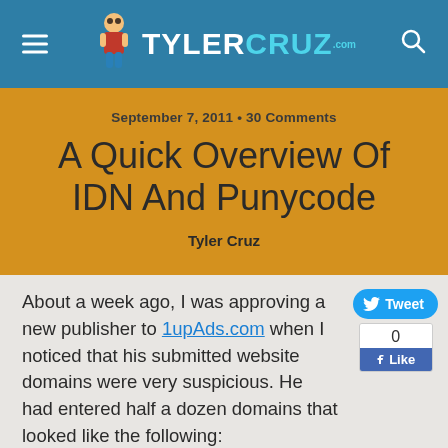TYLERCRUZ.com
September 7, 2011 • 30 Comments
A Quick Overview Of IDN And Punycode
Tyler Cruz
About a week ago, I was approving a new publisher to 1upAds.com when I noticed that his submitted website domains were very suspicious. He had entered half a dozen domains that looked like the following:
xn—k2i02n2alsdkf0d.com, xn—a0i0n323kflkid.com, xn—